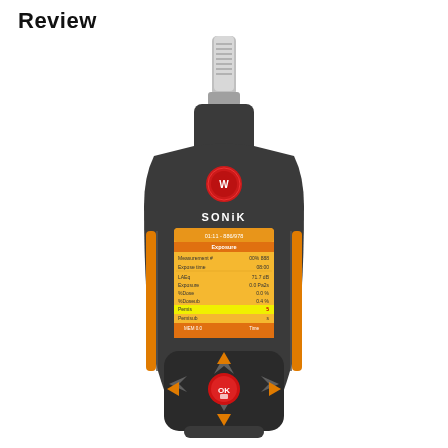Review
[Figure (photo): Photo of a Sonik handheld sound level meter/noise dosimeter device with an orange and dark grey body, a silver cylindrical microphone extending from the top, a red circular logo/badge on the front, and a small color LCD screen showing measurement data including Exposure, Measurement #, Expose time, LAEq, Exposure, %Dose, %Doseub, Pemis, Pemisub readings. The device has orange and dark navigation buttons at the bottom including an OK button.]